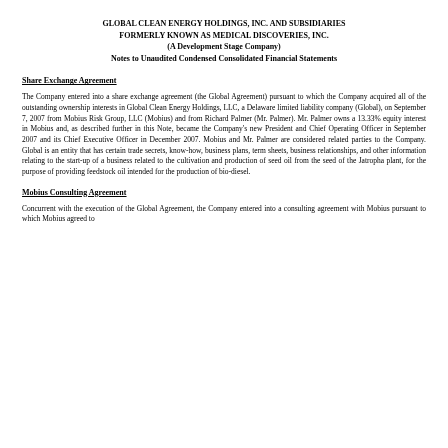GLOBAL CLEAN ENERGY HOLDINGS, INC. AND SUBSIDIARIES
FORMERLY KNOWN AS MEDICAL DISCOVERIES, INC.
(A Development Stage Company)
Notes to Unaudited Condensed Consolidated Financial Statements
Share Exchange Agreement
The Company entered into a share exchange agreement (the Global Agreement) pursuant to which the Company acquired all of the outstanding ownership interests in Global Clean Energy Holdings, LLC, a Delaware limited liability company (Global), on September 7, 2007 from Mobius Risk Group, LLC (Mobius) and from Richard Palmer (Mr. Palmer). Mr. Palmer owns a 13.33% equity interest in Mobius and, as described further in this Note, became the Company's new President and Chief Operating Officer in September 2007 and its Chief Executive Officer in December 2007. Mobius and Mr. Palmer are considered related parties to the Company. Global is an entity that has certain trade secrets, know-how, business plans, term sheets, business relationships, and other information relating to the start-up of a business related to the cultivation and production of seed oil from the seed of the Jatropha plant, for the purpose of providing feedstock oil intended for the production of bio-diesel.
Mobius Consulting Agreement
Concurrent with the execution of the Global Agreement, the Company entered into a consulting agreement with Mobius pursuant to which Mobius agreed to